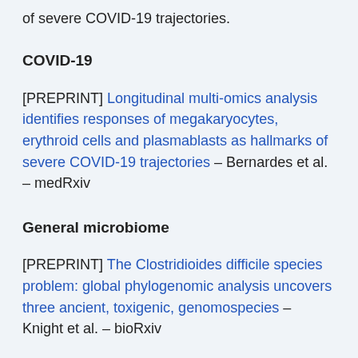of severe COVID-19 trajectories.
COVID-19
[PREPRINT] Longitudinal multi-omics analysis identifies responses of megakaryocytes, erythroid cells and plasmablasts as hallmarks of severe COVID-19 trajectories – Bernardes et al. – medRxiv
General microbiome
[PREPRINT] The Clostridioides difficile species problem: global phylogenomic analysis uncovers three ancient, toxigenic, genomospecies – Knight et al. – bioRxiv